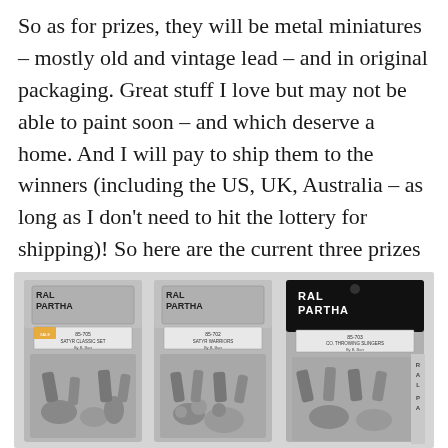So as for prizes, they will be metal miniatures – mostly old and vintage lead – and in original packaging. Great stuff I love but may not be able to paint soon – and which deserve a home. And I will pay to ship them to the winners (including the US, UK, Australia – as long as I don't need to hit the lottery for shipping)! So here are the current three prizes (and I may add more):
[Figure (photo): Three Ral Partha metal miniature blister packs side by side. Two packs on the left have grey/silver Ral Partha branding header cards, and the third on the right has a black header card with white 'RAL PARTHA' text. Each pack contains metal miniature figures.]